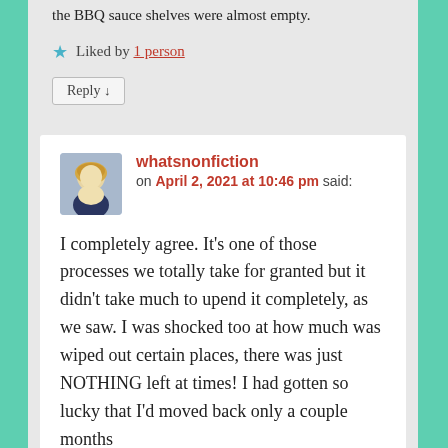the BBQ sauce shelves were almost empty.
★ Liked by 1 person
Reply ↓
whatsnonfiction on April 2, 2021 at 10:46 pm said:
I completely agree. It's one of those processes we totally take for granted but it didn't take much to upend it completely, as we saw. I was shocked too at how much was wiped out certain places, there was just NOTHING left at times! I had gotten so lucky that I'd moved back only a couple months